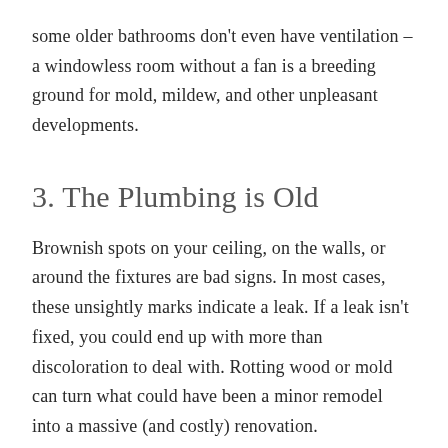some older bathrooms don't even have ventilation – a windowless room without a fan is a breeding ground for mold, mildew, and other unpleasant developments.
3. The Plumbing is Old
Brownish spots on your ceiling, on the walls, or around the fixtures are bad signs. In most cases, these unsightly marks indicate a leak. If a leak isn't fixed, you could end up with more than discoloration to deal with. Rotting wood or mold can turn what could have been a minor remodel into a massive (and costly) renovation.
Besides, those brown marks make the bathroom look dirty no matter how meticulously you clean it.